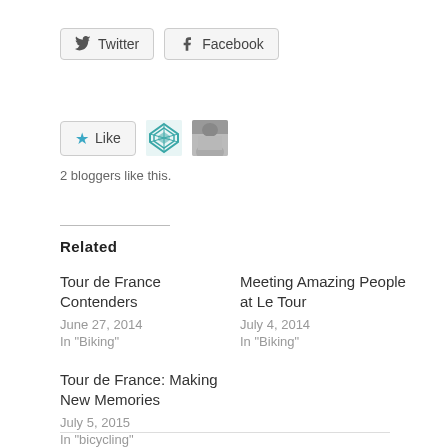[Figure (other): Twitter and Facebook share buttons with icons]
[Figure (other): Like button with star icon and two blogger avatars]
2 bloggers like this.
Related
Tour de France Contenders
June 27, 2014
In "Biking"
Meeting Amazing People at Le Tour
July 4, 2014
In "Biking"
Tour de France: Making New Memories
July 5, 2015
In "bicycling"